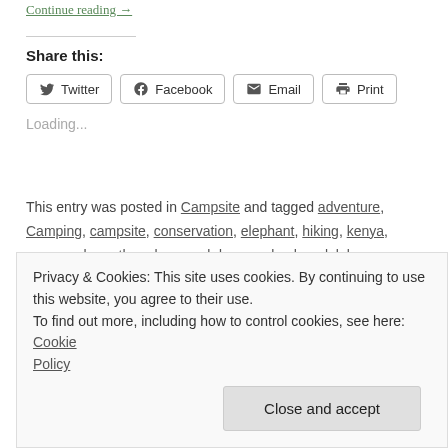Continue reading →
Share this:
[Figure (other): Social share buttons: Twitter, Facebook, Email, Print]
Loading...
This entry was posted in Campsite and tagged adventure, Camping, campsite, conservation, elephant, hiking, kenya, namunyak, northern kenya, ol donyo sabache, ololokwe, samburu on February 11, 2015.
Privacy & Cookies: This site uses cookies. By continuing to use this website, you agree to their use.
To find out more, including how to control cookies, see here: Cookie Policy
Close and accept